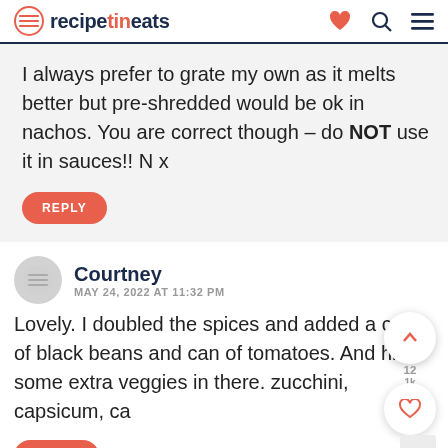recipetineats
I always prefer to grate my own as it melts better but pre-shredded would be ok in nachos. You are correct though – do NOT use it in sauces!! N x
REPLY
Courtney
MAY 24, 2022 AT 11:32 PM
Lovely. I doubled the spices and added a can of black beans and can of tomatoes. And hid some extra veggies in there. zucchini, capsicum, ca
REPLY
Nagi